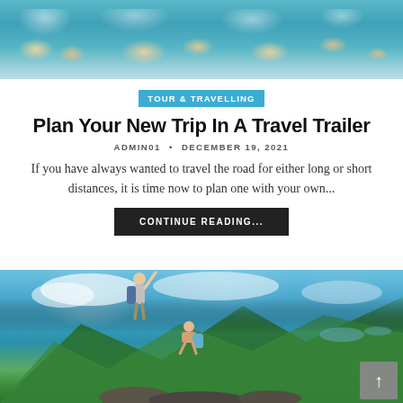[Figure (photo): Aerial view of a harbor with boats on turquoise water and colorful buildings along the shore]
TOUR & TRAVELLING
Plan Your New Trip In A Travel Trailer
ADMIN01 • DECEMBER 19, 2021
If you have always wanted to travel the road for either long or short distances, it is time now to plan one with your own...
CONTINUE READING...
[Figure (photo): Two hikers with backpacks celebrating on a mountain summit with panoramic landscape views below]